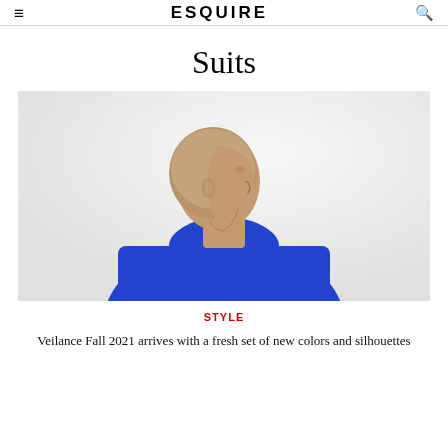≡  ESQUIRE  🔍
Suits
[Figure (photo): Side profile of a person with a shaved head wearing a bright royal blue turtleneck sweater/jacket, photographed against a light gray background.]
STYLE
Veilance Fall 2021 arrives with a fresh set of new colors and silhouettes